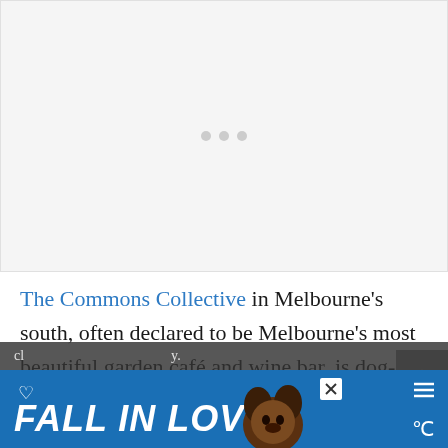[Figure (other): Image loading placeholder with three grey dots indicating content loading]
The Commons Collective in Melbourne's south, often declared to be Melbourne's most beautiful garden café and wine bar, is dog-friendly in its outdoor areas. The beer garden is open year round, while the rosé garden
[Figure (other): Advertisement banner reading FALL IN LOVE with a dog image and close button]